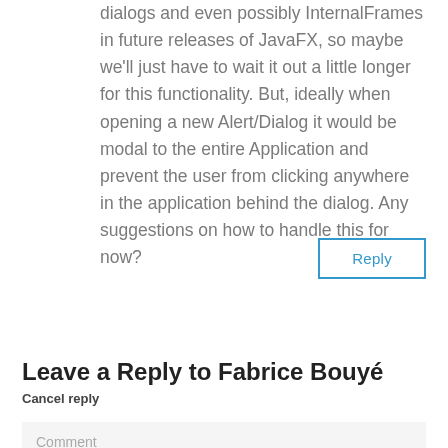dialogs and even possibly InternalFrames in future releases of JavaFX, so maybe we'll just have to wait it out a little longer for this functionality. But, ideally when opening a new Alert/Dialog it would be modal to the entire Application and prevent the user from clicking anywhere in the application behind the dialog. Any suggestions on how to handle this for now?
Reply
Leave a Reply to Fabrice Bouyé
Cancel reply
Your email address will not be published. Required fields are marked *
Comment